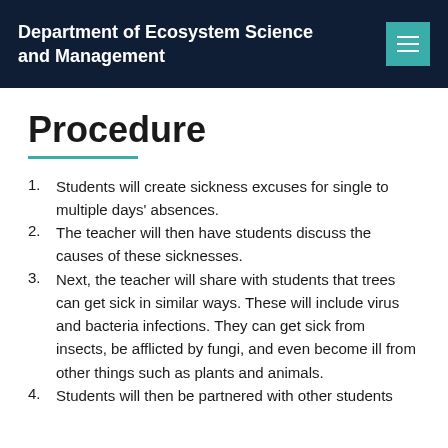Department of Ecosystem Science and Management
Procedure
Students will create sickness excuses for single to multiple days' absences.
The teacher will then have students discuss the causes of these sicknesses.
Next, the teacher will share with students that trees can get sick in similar ways. These will include virus and bacteria infections. They can get sick from insects, be afflicted by fungi, and even become ill from other things such as plants and animals.
Students will then be partnered with other students